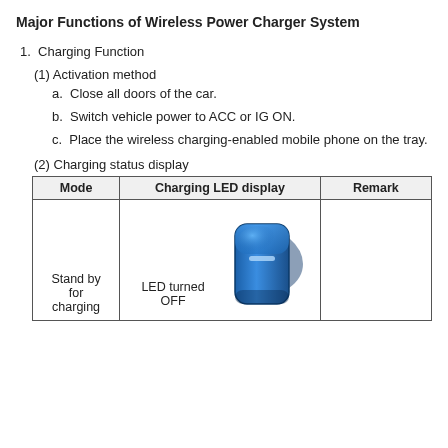Major Functions of Wireless Power Charger System
1.  Charging Function
(1) Activation method
a.  Close all doors of the car.
b.  Switch vehicle power to ACC or IG ON.
c.  Place the wireless charging-enabled mobile phone on the tray.
(2) Charging status display
| Mode | Charging LED display | Remark |
| --- | --- | --- |
| Stand by
for
charging | LED turned
OFF | [image of wireless charger device] |  |